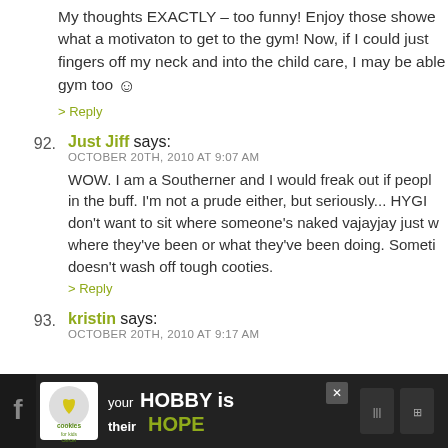My thoughts EXACTLY – too funny! Enjoy those showe... what a motivaton to get to the gym! Now, if I could just fingers off my neck and into the child care, I may be able gym too 😊
> Reply
92. Just Jiff says:
OCTOBER 20TH, 2010 AT 9:07 AM
WOW. I am a Southerner and I would freak out if peopl in the buff. I'm not a prude either, but seriously... HYGI don't want to sit where someone's naked vajayjay just w where they've been or what they've been doing. Someti doesn't wash off tough cooties.
> Reply
93. kristin says:
OCTOBER 20TH, 2010 AT 9:17 AM
[Figure (infographic): Advertisement banner: cookies for kids cancer - your HOBBY is their HOPE]